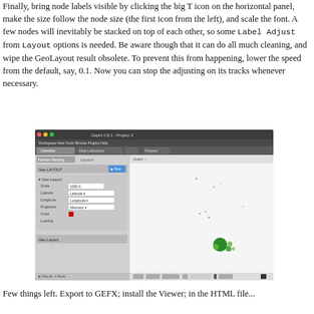Finally, bring node labels visible by clicking the big T icon on the horizontal panel, make the size follow the node size (the first icon from the left), and scale the font. A few nodes will inevitably be stacked on top of each other, so some Label Adjust from Layout options is needed. Be aware though that it can do all much cleaning, and wipe the GeoLayout result obsolete. To prevent this from happening, lower the speed from the default, say, 0.1. Now you can stop the adjusting on its tracks whenever necessary.
[Figure (screenshot): Screenshot of Gephi application showing GeoLayout panel on the left with settings for Scale, Latitude, Longitude, Projection, Invert, Loading fields, and a graph view on the right showing a few scattered nodes including some green circles clustered at the bottom center.]
Few things left. Export to GEFX; install the Viewer; in the HT... files...